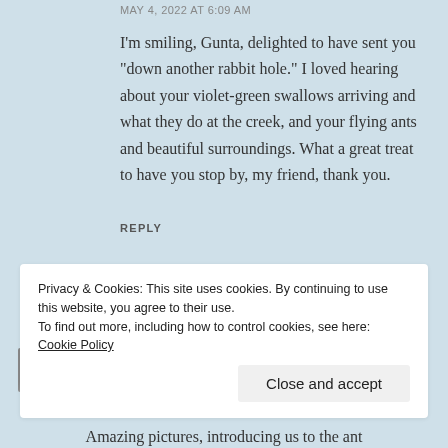MAY 4, 2022 AT 6:09 AM
I’m smiling, Gunta, delighted to have sent you “down another rabbit hole.” I loved hearing about your violet-green swallows arriving and what they do at the creek, and your flying ants and beautiful surroundings. What a great treat to have you stop by, my friend, thank you.
REPLY
Privacy & Cookies: This site uses cookies. By continuing to use this website, you agree to their use.
To find out more, including how to control cookies, see here: Cookie Policy
Close and accept
Amazing pictures, introducing us to the ant